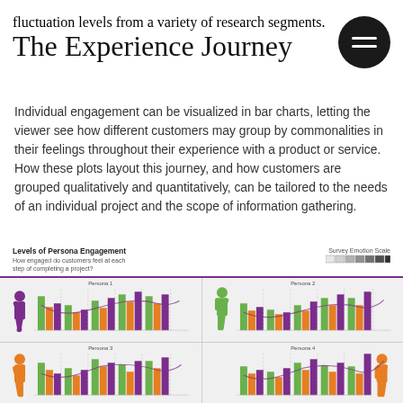fluctuation levels from a variety of research segments.
The Experience Journey
Individual engagement can be visualized in bar charts, letting the viewer see how different customers may group by commonalities in their feelings throughout their experience with a product or service. How these plots layout this journey, and how customers are grouped qualitatively and quantitatively, can be tailored to the needs of an individual project and the scope of information gathering.
[Figure (bar-chart): A 2x2 grid of bar charts showing engagement levels for Persona 1, Persona 2, Persona 3, and Persona 4. Each chart shows grouped bars in green, orange, and purple colors with a curve overlaid. Silhouettes of people accompany each chart.]